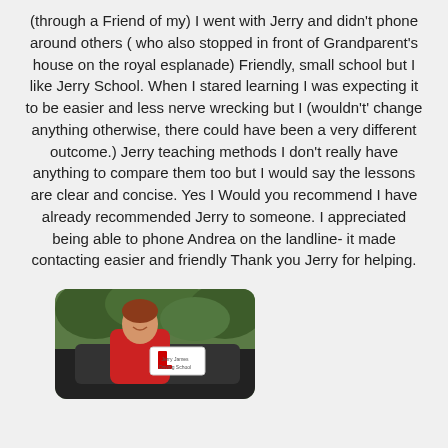(through a Friend of my) I went with Jerry and didn't phone around others ( who also stopped in front of Grandparent's house on the royal esplanade) Friendly, small school but I like Jerry School. When I stared learning I was expecting it to be easier and less nerve wrecking but I (wouldn't' change anything otherwise, there could have been a very different outcome.) Jerry teaching methods I don't really have anything to compare them too but I would say the lessons are clear and concise. Yes I Would you recommend I have already recommended Jerry to someone. I appreciated being able to phone Andrea on the landline- it made contacting easier and friendly Thank you Jerry for helping.
[Figure (photo): A person in a red jacket smiling and holding an L-plate sign for Jerry James Driving School, with trees in the background.]